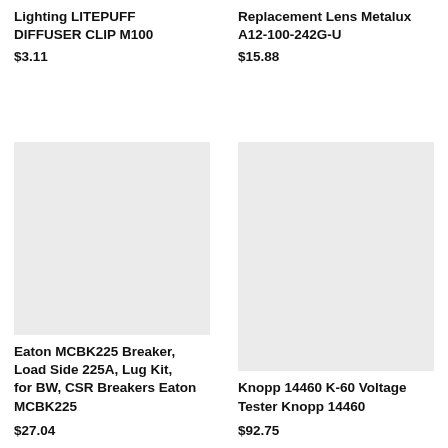Lighting LITEPUFF DIFFUSER CLIP M100
$3.11
Replacement Lens Metalux A12-100-242G-U
$15.88
[Figure (other): Product image placeholder, light gray rectangle]
Eaton MCBK225 Breaker, Load Side 225A, Lug Kit, for BW, CSR Breakers Eaton MCBK225
$27.04
[Figure (other): Product image placeholder, light gray rectangle]
Knopp 14460 K-60 Voltage Tester Knopp 14460
$92.75